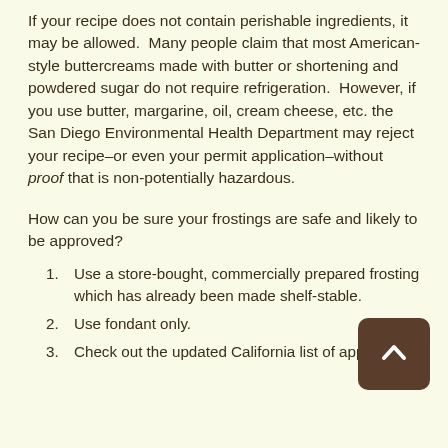If your recipe does not contain perishable ingredients, it may be allowed. Many people claim that most American-style buttercreams made with butter or shortening and powdered sugar do not require refrigeration. However, if you use butter, margarine, oil, cream cheese, etc. the San Diego Environmental Health Department may reject your recipe–or even your permit application–without proof that is non-potentially hazardous.
How can you be sure your frostings are safe and likely to be approved?
Use a store-bought, commercially prepared frosting which has already been made shelf-stable.
Use fondant only.
Check out the updated California list of approved